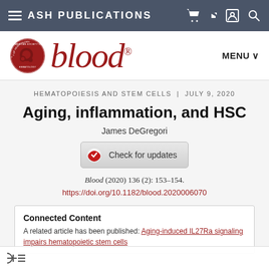ASH PUBLICATIONS
[Figure (logo): Blood journal logo with American Society of Hematology circular emblem and italic 'blood' wordmark in dark red]
HEMATOPOIESIS AND STEM CELLS | JULY 9, 2020
Aging, inflammation, and HSC
James DeGregori
[Figure (other): Check for updates button with Crossmark logo]
Blood (2020) 136 (2): 153–154.
https://doi.org/10.1182/blood.2020006070
Connected Content
A related article has been published: Aging-induced IL27Ra signaling impairs hematopoietic stem cells